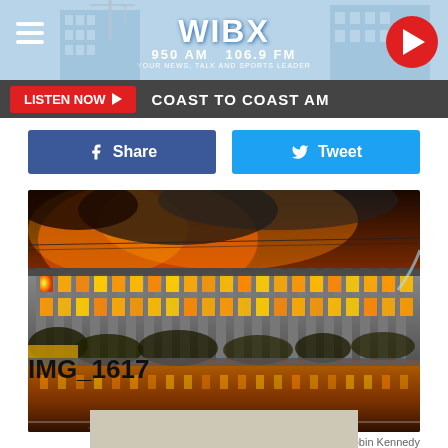[Figure (screenshot): WIBX 950 AM 106.9 FM radio station website header with logo, hamburger menu, and play button]
LISTEN NOW ▶  COAST TO COAST AM
[Figure (photo): Large building engulfed in fire at night, windows glowing orange, reflection on wet road, fire hose visible]
Robin Kennedy
IMG_1617
[Figure (photo): Partial beige/tan colored image at bottom of page]